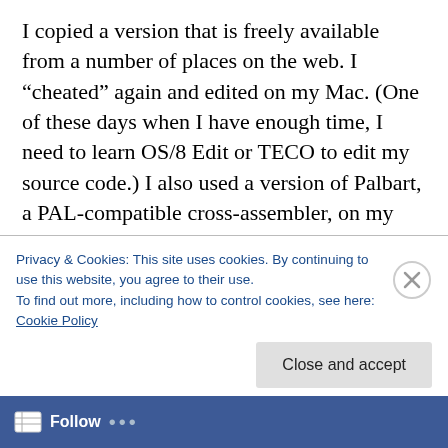I copied a version that is freely available from a number of places on the web. I “cheated” again and edited on my Mac. (One of these days when I have enough time, I need to learn OS/8 Edit or TECO to edit my source code.) I also used a version of Palbart, a PAL-compatible cross-assembler, on my Mac to compile the source code into a PDP-8 .BN file. (A PDP-8 .BN file is actually a paper tape formatted binary file, whether it is on a disk or paper tape.) Once again. I transferred the .BN file to the PiDP-8
Privacy & Cookies: This site uses cookies. By continuing to use this website, you agree to their use.
To find out more, including how to control cookies, see here:
Cookie Policy
Close and accept
Follow ...